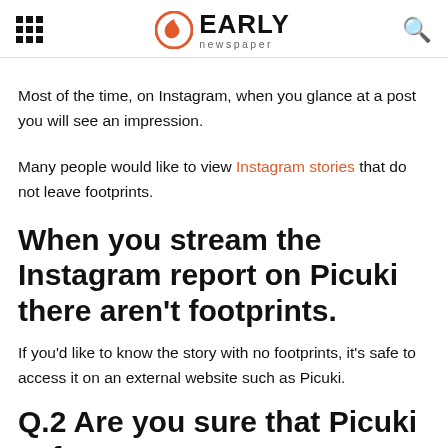EARLY newspaper
Most of the time, on Instagram, when you glance at a post you will see an impression.
Many people would like to view Instagram stories that do not leave footprints.
When you stream the Instagram report on Picuki there aren't footprints.
If you'd like to know the story with no footprints, it's safe to access it on an external website such as Picuki.
Q.2 Are you sure that Picuki safe